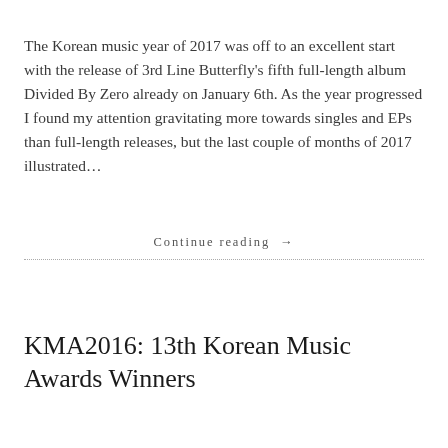The Korean music year of 2017 was off to an excellent start with the release of 3rd Line Butterfly's fifth full-length album Divided By Zero already on January 6th. As the year progressed I found my attention gravitating more towards singles and EPs than full-length releases, but the last couple of months of 2017 illustrated…
Continue reading →
KMA2016: 13th Korean Music Awards Winners